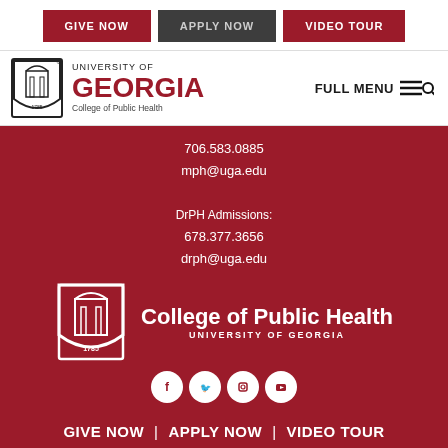GIVE NOW | APPLY NOW | VIDEO TOUR
[Figure (logo): University of Georgia College of Public Health shield logo with arch and 1785]
UNIVERSITY OF GEORGIA
College of Public Health
FULL MENU
706.583.0885
mph@uga.edu
DrPH Admissions:
678.377.3656
drph@uga.edu
[Figure (logo): College of Public Health University of Georgia white shield logo with arch and 1785]
College of Public Health
UNIVERSITY OF GEORGIA
[Figure (illustration): Social media icons: Facebook, Twitter, Instagram, YouTube in white circles]
GIVE NOW | APPLY NOW | VIDEO TOUR